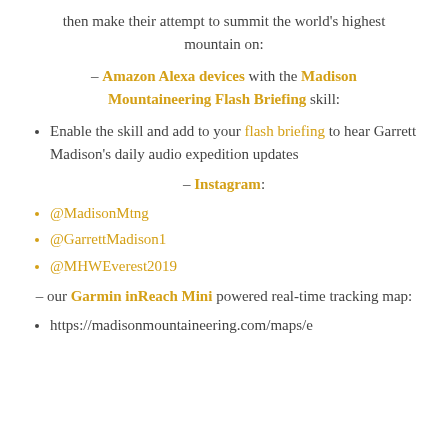then make their attempt to summit the world's highest mountain on:
– Amazon Alexa devices with the Madison Mountaineering Flash Briefing skill:
Enable the skill and add to your flash briefing to hear Garrett Madison's daily audio expedition updates
– Instagram:
@MadisonMtng
@GarrettMadison1
@MHWEverest2019
– our Garmin inReach Mini powered real-time tracking map:
https://madisonmountaineering.com/maps/e